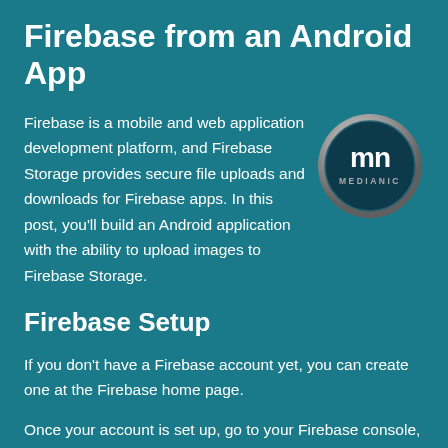Firebase from an Android App
Firebase is a mobile and web application development platform, and Firebase Storage provides secure file uploads and downloads for Firebase apps. In this post, you'll build an Android application with the ability to upload images to Firebase Storage.
[Figure (logo): Medianic logo: circular badge with dark teal background, white stylized 'mn' letters and 'MEDIANIC' text below, silver/grey border ring]
Firebase Setup
If you don't have a Firebase account yet, you can create one at the Firebase home page.
Once your account is set up, go to your Firebase console, and click the Add Project button to create a new project.